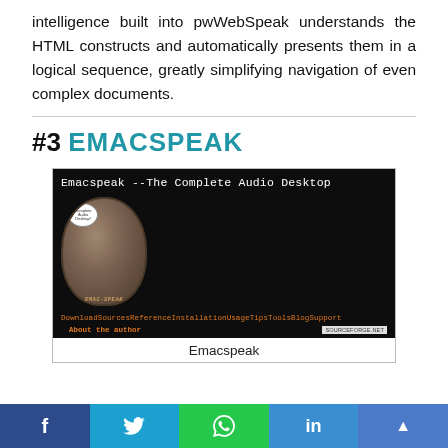intelligence built into pwWebSpeak understands the HTML constructs and automatically presents them in a logical sequence, greatly simplifying navigation of even complex documents.
#3 EMACSPEAK
[Figure (screenshot): Screenshot of the Emacspeak website showing 'Emacspeak --The Complete Audio Desktop' title in monospace font on dark background, with an oval-framed photo of a yellow Labrador guide dog, navigation links in orange text (Download, Sources, Reference, Installation, Usage, Tips, Tools, Blog, Support, About the author), and a SourceForge.net badge.]
Emacspeak
f  [twitter]  [whatsapp]  in  ▲